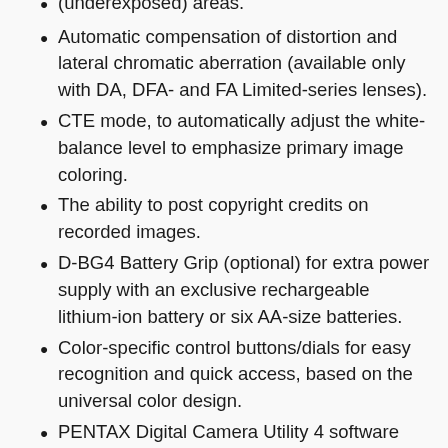(underexposed) areas.
Automatic compensation of distortion and lateral chromatic aberration (available only with DA, DFA- and FA Limited-series lenses).
CTE mode, to automatically adjust the white-balance level to emphasize primary image coloring.
The ability to post copyright credits on recorded images.
D-BG4 Battery Grip (optional) for extra power supply with an exclusive rechargeable lithium-ion battery or six AA-size batteries.
Color-specific control buttons/dials for easy recognition and quick access, based on the universal color design.
PENTAX Digital Camera Utility 4 software